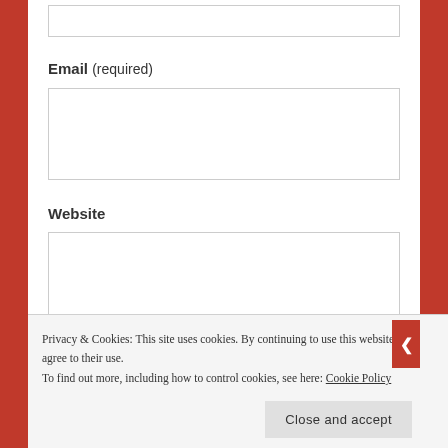[Figure (screenshot): Top portion of a web form input box (partial, cut off at top)]
Email (required)
[Figure (screenshot): Email input text field box]
Website
[Figure (screenshot): Website input text field box]
Comment
[Figure (screenshot): Comment input text field box (partially visible)]
Privacy & Cookies: This site uses cookies. By continuing to use this website, you agree to their use.
To find out more, including how to control cookies, see here: Cookie Policy
Close and accept